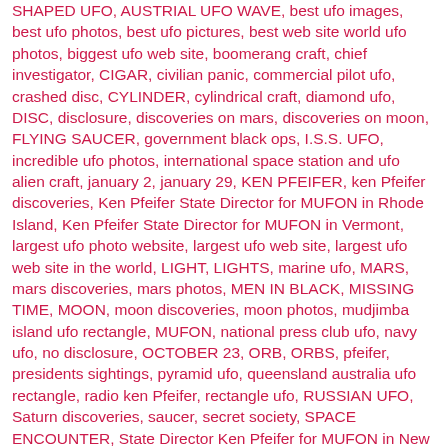SHAPED UFO, AUSTRIAL UFO WAVE, best ufo images, best ufo photos, best ufo pictures, best web site world ufo photos, biggest ufo web site, boomerang craft, chief investigator, CIGAR, civilian panic, commercial pilot ufo, crashed disc, CYLINDER, cylindrical craft, diamond ufo, DISC, disclosure, discoveries on mars, discoveries on moon, FLYING SAUCER, government black ops, I.S.S. UFO, incredible ufo photos, international space station and ufo alien craft, january 2, january 29, KEN PFEIFER, ken Pfeifer discoveries, Ken Pfeifer State Director for MUFON in Rhode Island, Ken Pfeifer State Director for MUFON in Vermont, largest ufo photo website, largest ufo web site, largest ufo web site in the world, LIGHT, LIGHTS, marine ufo, MARS, mars discoveries, mars photos, MEN IN BLACK, MISSING TIME, MOON, moon discoveries, moon photos, mudjimba island ufo rectangle, MUFON, national press club ufo, navy ufo, no disclosure, OCTOBER 23, ORB, ORBS, pfeifer, presidents sightings, pyramid ufo, queensland australia ufo rectangle, radio ken Pfeifer, rectangle ufo, RUSSIAN UFO, Saturn discoveries, saucer, secret society, SPACE ENCOUNTER, State Director Ken Pfeifer for MUFON in New Jersey, STRANGE, sun photos, swamp gas, top ufo news, TRIANGLE, ufo, UFO ARTICLES, ufo crash, ufo news, ufo photos | Tagged air force ufo, ufo presidents, UFO world ufo photos, ufo world